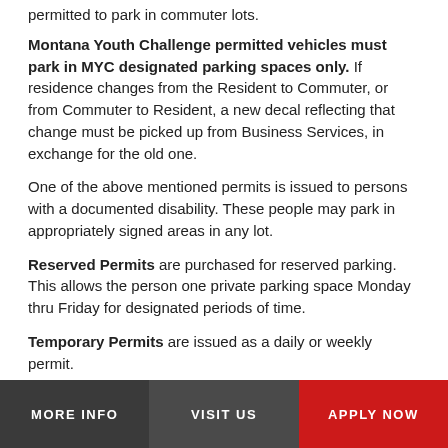permitted to park in commuter lots.
Montana Youth Challenge permitted vehicles must park in MYC designated parking spaces only. If residence changes from the Resident to Commuter, or from Commuter to Resident, a new decal reflecting that change must be picked up from Business Services, in exchange for the old one.
One of the above mentioned permits is issued to persons with a documented disability. These people may park in appropriately signed areas in any lot.
Reserved Permits are purchased for reserved parking. This allows the person one private parking space Monday thru Friday for designated periods of time.
Temporary Permits are issued as a daily or weekly permit.
MORE INFO   VISIT US   APPLY NOW